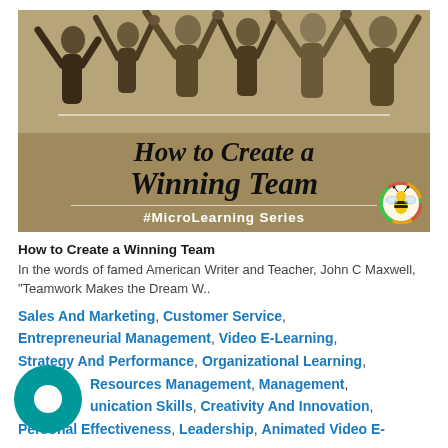[Figure (illustration): Hero image showing people with raised arms celebrating, with golden/tan background. Title overlay reads 'How to Create a Winning Team' in bold italic serif font. Subtitle '#MicroLearning Series' in white bold text. Bee logo in bottom right corner.]
How to Create a Winning Team
In the words of famed American Writer and Teacher, John C Maxwell, "Teamwork Makes the Dream W..
Sales And Marketing, Customer Service, Entrepreneurial Management, Video E-Learning, Strategy And Performance, Organizational Learning, Resources Management, Management, unication Skills, Creativity And Innovation, Personal Effectiveness, Leadership, Animated Video E-